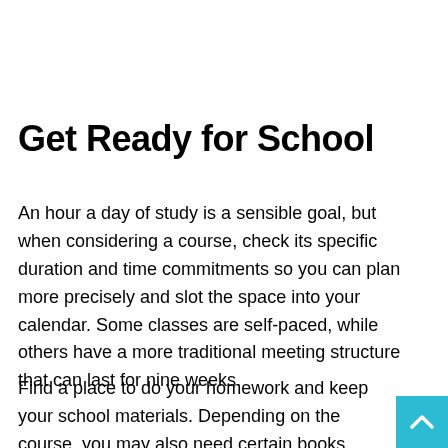Get Ready for School
An hour a day of study is a sensible goal, but when considering a course, check its specific duration and time commitments so you can plan more precisely and slot the space into your calendar. Some classes are self-paced, while others have a more traditional meeting structure that can last for nine weeks.
Find a place to do your homework and keep your school materials. Depending on the course, you may also need certain books, software or other materials. Even if you're